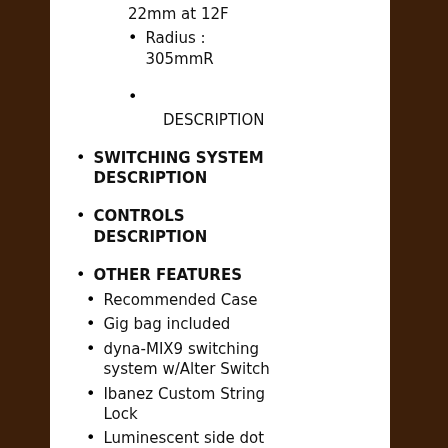22mm at 12F
Radius : 305mmR
DESCRIPTION
SWITCHING SYSTEM DESCRIPTION
CONTROLS DESCRIPTION
OTHER FEATURES
Recommended Case
Gig bag included
dyna-MIX9 switching system w/Alter Switch
Ibanez Custom String Lock
Luminescent side dot inlay